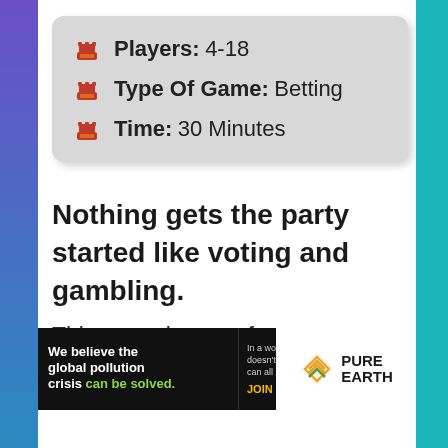Players: 4-18
Type Of Game: Betting
Time: 30 Minutes
Nothing gets the party started like voting and gambling.
This game is great for anyone who's a fan of old school game shows like the Price Is
[Figure (infographic): Pure Earth advertisement banner: 'We believe the global pollution crisis can be solved. In a world where pollution doesn't stop at borders, we can all be part of the solution. JOIN US.' with Pure Earth logo.]